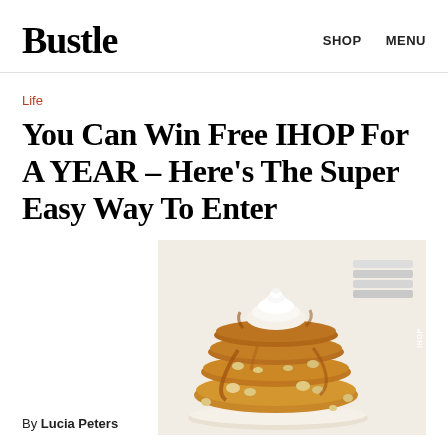Bustle  SHOP  MENU
Life
You Can Win Free IHOP For A YEAR – Here's The Super Easy Way To Enter
[Figure (photo): Stack of IHOP pancakes with caramel sauce, whipped cream topping, and macadamia nuts on a white plate, with stacked white plates in background. IHOP watermark on right side.]
By Lucia Peters